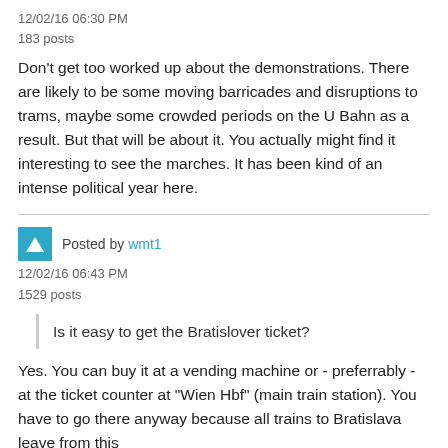12/02/16 06:30 PM
183 posts
Don't get too worked up about the demonstrations. There are likely to be some moving barricades and disruptions to trams, maybe some crowded periods on the U Bahn as a result. But that will be about it. You actually might find it interesting to see the marches. It has been kind of an intense political year here.
Posted by wmt1
12/02/16 06:43 PM
1529 posts
Is it easy to get the Bratislover ticket?
Yes. You can buy it at a vending machine or - preferrably - at the ticket counter at "Wien Hbf" (main train station). You have to go there anyway because all trains to Bratislava leave from this